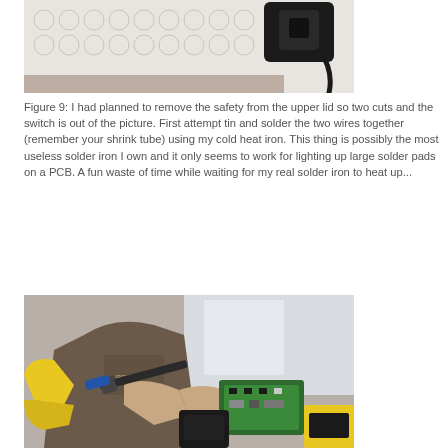[Figure (photo): Photo of what appears to be a white/grey textured surface (possibly bubble wrap or foam) with a black device/motor component with a cord visible in the upper right corner.]
Figure 9: I had planned to remove the safety from the upper lid so two cuts and the switch is out of the picture. First attempt tin and solder the two wires together (remember your shrink tube) using my cold heat iron. This thing is possibly the most useless solder iron I own and it only seems to work for lighting up large solder pads on a PCB. A fun waste of time while waiting for my real solder iron to heat up...
[Figure (photo): Photo of a person wearing a graphic t-shirt using a soldering iron on a green PCB board, with yellow gloves visible on the left and what appears to be a yellow multimeter on the right.]